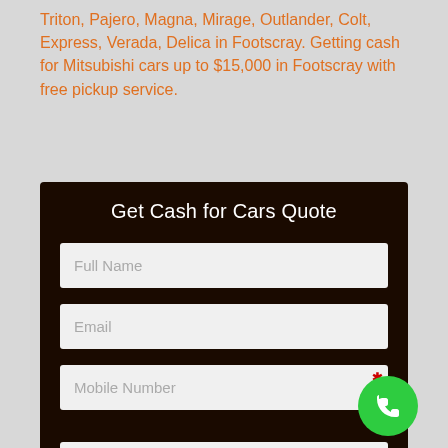Triton, Pajero, Magna, Mirage, Outlander, Colt, Express, Verada, Delica in Footscray. Getting cash for Mitsubishi cars up to $15,000 in Footscray with free pickup service.
Get Cash for Cars Quote
Full Name
Email
Mobile Number
Make | Model | Year